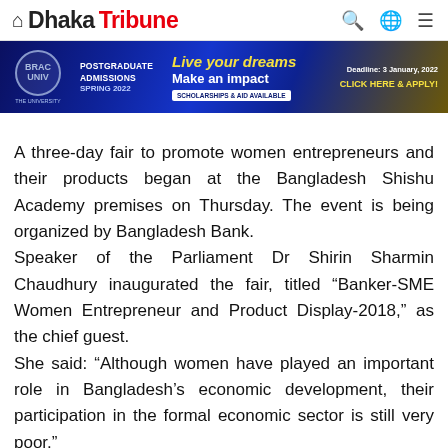Dhaka Tribune
[Figure (other): Advertisement banner for BRAC University Postgraduate Admissions Spring 2022. Blue gradient background with text: POSTGRADUATE ADMISSIONS SPRING 2022, Live your dreams Make an impact, SCHOLARSHIPS & AID AVAILABLE, Deadline: 3 January, 2022, CLICK HERE & APPLY!]
A three-day fair to promote women entrepreneurs and their products began at the Bangladesh Shishu Academy premises on Thursday. The event is being organized by Bangladesh Bank.
Speaker of the Parliament Dr Shirin Sharmin Chaudhury inaugurated the fair, titled “Banker-SME Women Entrepreneur and Product Display-2018,” as the chief guest.
She said: “Although women have played an important role in Bangladesh’s economic development, their participation in the formal economic sector is still very poor.”
She called for bankers to ensure access to credit for women entrepreneurs as well as for increasing women’s business literacy with a view to promoting their stake in the economy.
“Women should not be kept captive within only small-cottage industries and sewing embroidery products.